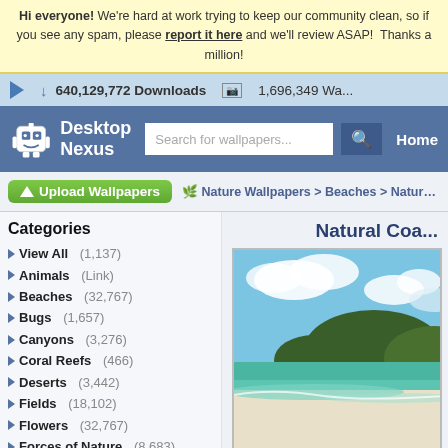Hi everyone! We're hard at work trying to keep our community clean, so if you see any spam, please report it here and we'll review ASAP! Thanks a million!
640,129,772 Downloads  |  1,696,349 Wallpapers
[Figure (screenshot): Desktop Nexus logo with robot mascot icon, search bar, and Home navigation link on blue background]
Upload Wallpapers
Nature Wallpapers > Beaches > Natura...
Categories
View All (1,137)
Animals (Link)
Beaches (32,767)
Bugs (1,657)
Canyons (3,276)
Coral Reefs (466)
Deserts (3,442)
Fields (18,102)
Flowers (32,767)
Forces of Nature (8,683)
Forests (31,710)
Grass (3,796)
Greenroofs (318)
Lakes (32,767)
Mountains (32,767)
Natural Coa...
[Figure (photo): Natural coastal beach scene with white sand, turquoise water, green hills and blue sky with clouds]